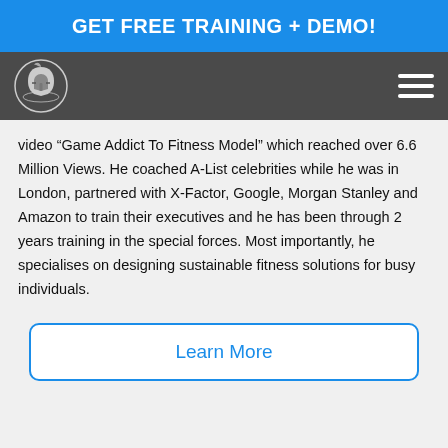GET FREE TRAINING + DEMO!
[Figure (logo): Spartan helmet logo in a circular emblem on dark navigation bar with hamburger menu icon on the right]
video “Game Addict To Fitness Model” which reached over 6.6 Million Views. He coached A-List celebrities while he was in London, partnered with X-Factor, Google, Morgan Stanley and Amazon to train their executives and he has been through 2 years training in the special forces. Most importantly, he specialises on designing sustainable fitness solutions for busy individuals.
Learn More